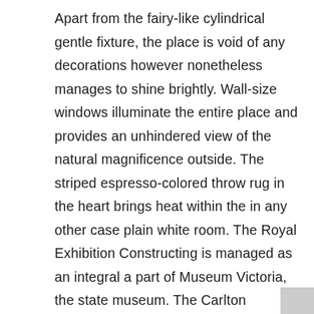Apart from the fairy-like cylindrical gentle fixture, the place is void of any decorations however nonetheless manages to shine brightly. Wall-size windows illuminate the entire place and provides an unhindered view of the natural magnificence outside. The striped espresso-colored throw rug in the heart brings heat within the in any other case plain white room. The Royal Exhibition Constructing is managed as an integral a part of Museum Victoria, the state museum. The Carlton Gardens are managed by the Metropolis of Melbourne. Deciding how much to spend on building construction, onerous landscaping, planting and lighting will be daunting. For that reason, it is nicely value using a professional landscape designer and gardener to make sure you get probably the most beautiful garden your funds permits. T. Shoil and A. Shoil have put collectively the